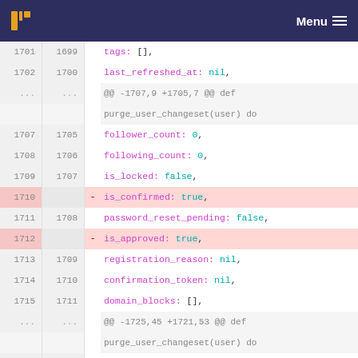Menu
[Figure (screenshot): Code diff view showing git diff of Elixir code with line numbers, deleted lines (pink background) and added lines (green background). Shows changes to user changeset fields including removal of is_confirmed and is_approved fields, and addition of comment lines.]